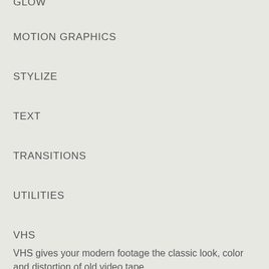GLOW
MOTION GRAPHICS
STYLIZE
TEXT
TRANSITIONS
UTILITIES
VHS
VHS gives your modern footage the classic look, color and distortion of old video tape.
Watch Tutorial | Learn More
GLITCH
Get the look of compressed, glitched video.